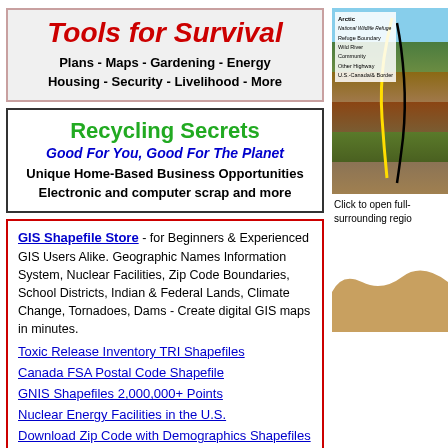[Figure (other): Tools for Survival banner with red italic bold title, subtitle listing Plans, Maps, Gardening, Energy, Housing, Security, Livelihood, More]
[Figure (other): Recycling Secrets banner with green title, blue italic subtitle Good For You Good For The Planet, and black subtitles about home-based business and electronic scrap]
GIS Shapefile Store - for Beginners & Experienced GIS Users Alike. Geographic Names Information System, Nuclear Facilities, Zip Code Boundaries, School Districts, Indian & Federal Lands, Climate Change, Tornadoes, Dams - Create digital GIS maps in minutes.
Toxic Release Inventory TRI Shapefiles
Canada FSA Postal Code Shapefile
GNIS Shapefiles 2,000,000+ Points
Nuclear Energy Facilities in the U.S.
Download Zip Code with Demographics Shapefiles
[Figure (map): Arctic National Wildlife Refuge map showing topographic terrain with yellow boundary line and legend]
Click to open full- surrounding regio